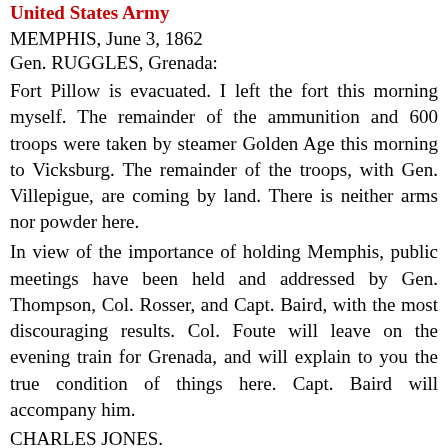United States Army
MEMPHIS, June 3, 1862
Gen. RUGGLES, Grenada:
Fort Pillow is evacuated. I left the fort this morning myself. The remainder of the ammunition and 600 troops were taken by steamer Golden Age this morning to Vicksburg. The remainder of the troops, with Gen. Villepigue, are coming by land. There is neither arms nor powder here.
In view of the importance of holding Memphis, public meetings have been held and addressed by Gen. Thompson, Col. Rosser, and Capt. Baird, with the most discouraging results. Col. Foute will leave on the evening train for Grenada, and will explain to you the true condition of things here. Capt. Baird will accompany him.
CHARLES JONES.